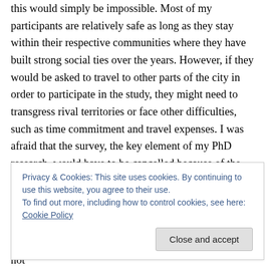this would simply be impossible. Most of my participants are relatively safe as long as they stay within their respective communities where they have built strong social ties over the years. However, if they would be asked to travel to other parts of the city in order to participate in the study, they might need to transgress rival territories or face other difficulties, such as time commitment and travel expenses. I was afraid that the survey, the key element of my PhD research, would have to be cancelled because of the rather unrealistic conditions of the REC.
In the end, I could convince the REC that in order to
Privacy & Cookies: This site uses cookies. By continuing to use this website, you agree to their use.
To find out more, including how to control cookies, see here: Cookie Policy
perception of insecurity within its given context and not